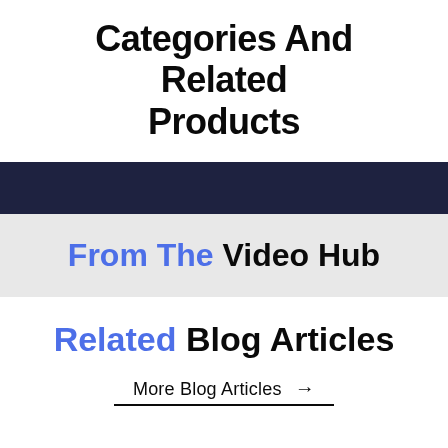Categories And Related Products
From The Video Hub
Related Blog Articles
More Blog Articles →